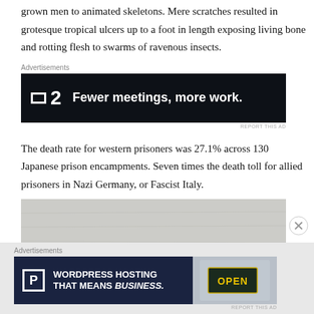grown men to animated skeletons.  Mere scratches resulted in grotesque tropical ulcers up to a foot in length exposing living bone and rotting flesh to swarms of ravenous insects.
[Figure (infographic): Advertisement banner with dark background showing P2 logo and text: Fewer meetings, more work.]
The death rate for western prisoners was 27.1% across 130 Japanese prison encampments.  Seven times the death toll for allied prisoners in Nazi Germany, or Fascist Italy.
[Figure (photo): Black and white photograph, partially visible, showing a figure in the distance.]
[Figure (infographic): Advertisement banner for WordPress Hosting: WORDPRESS HOSTING THAT MEANS BUSINESS. with an OPEN sign image on the right.]